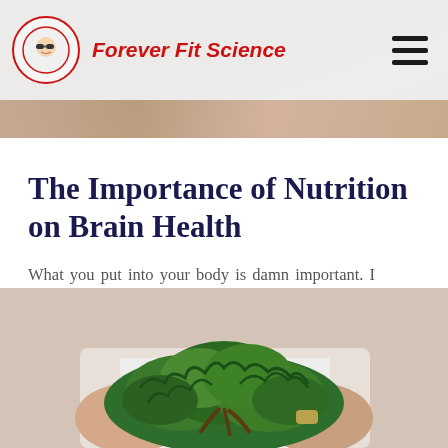Forever Fit Science
[Figure (photo): Person holding fruit/object in the background behind the header bar]
The Importance of Nutrition on Brain Health
What you put into your body is damn important. I mean, without providing your body...
[Figure (photo): Person holding a bunch of fresh green kale/leafy greens]